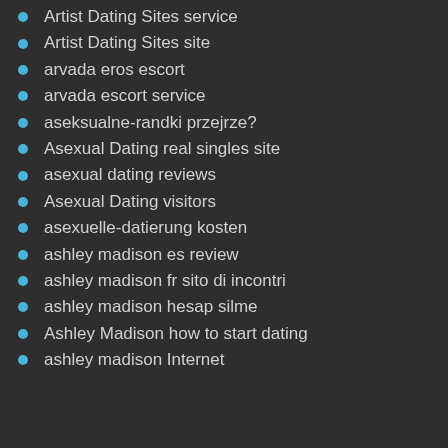Artist Dating Sites service
Artist Dating Sites site
arvada eros escort
arvada escort service
aseksualne-randki przejrze?
Asexual Dating real singles site
asexual dating reviews
Asexual Dating visitors
asexuelle-datierung kosten
ashley madison es review
ashley madison fr sito di incontri
ashley madison hesap silme
Ashley Madison how to start dating
ashley madison Internet